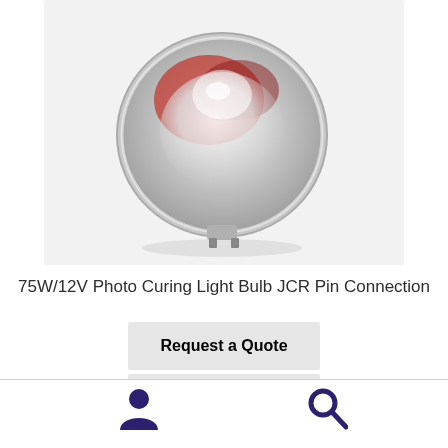[Figure (photo): A halogen light bulb with MR-style reflector cup (JCR Pin Connection, 75W/12V) photographed against a white background. The bulb has a silver/chrome reflector dish with a small glass envelope visible in the center.]
75W/12V Photo Curing Light Bulb JCR Pin Connection
Request a Quote
Read more